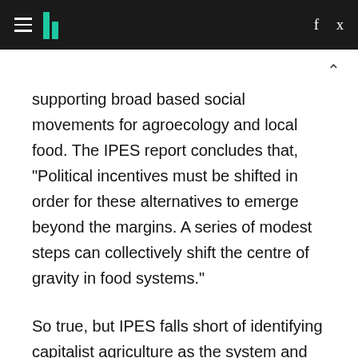HuffPost navigation header with hamburger menu, logo, Facebook and Twitter icons
supporting broad based social movements for agroecology and local food. The IPES report concludes that, "Political incentives must be shifted in order for these alternatives to emerge beyond the margins. A series of modest steps can collectively shift the centre of gravity in food systems."
So true, but IPES falls short of identifying capitalist agriculture as the system and overproduction as the mechanism locking industrial agriculture in and keeping agroecology out.